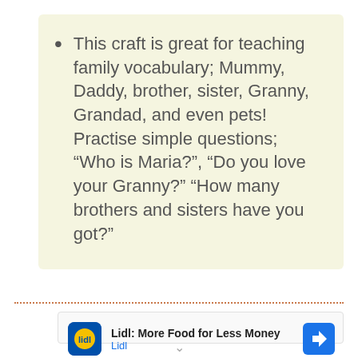This craft is great for teaching family vocabulary; Mummy, Daddy, brother, sister, Granny, Grandad, and even pets! Practise simple questions; “Who is Maria?”, “Do you love your Granny?” “How many brothers and sisters have you got?”
[Figure (other): Lidl advertisement banner with Lidl logo, text 'Lidl: More Food for Less Money', blue navigation arrow icon, and ad control icons (play and close).]